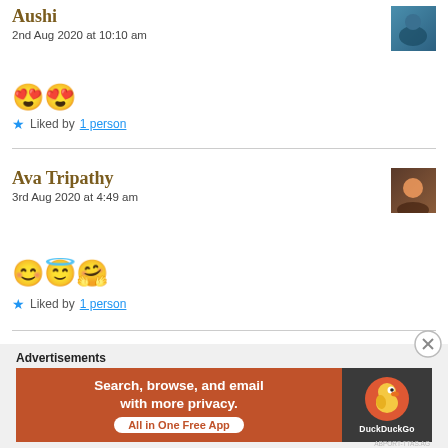Aushi
2nd Aug 2020 at 10:10 am
😍😍
★ Liked by 1 person
Ava Tripathy
3rd Aug 2020 at 4:49 am
😊😇🤗
★ Liked by 1 person
Advertisements
[Figure (infographic): DuckDuckGo advertisement banner: orange left panel with text 'Search, browse, and email with more privacy. All in One Free App', dark right panel with DuckDuckGo duck logo and brand name.]